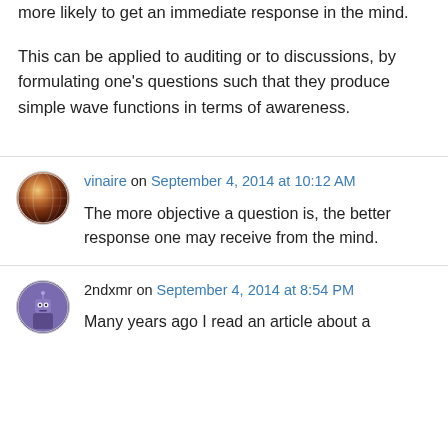more likely to get an immediate response in the mind.
This can be applied to auditing or to discussions, by formulating one's questions such that they produce simple wave functions in terms of awareness.
vinaire on September 4, 2014 at 10:12 AM
The more objective a question is, the better response one may receive from the mind.
2ndxmr on September 4, 2014 at 8:54 PM
Many years ago I read an article about a